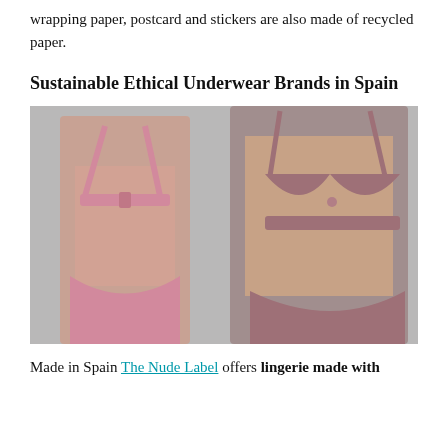wrapping paper, postcard and stickers are also made of recycled paper.
Sustainable Ethical Underwear Brands in Spain
[Figure (photo): Two women modeling lingerie/underwear. Left model shown from behind wearing pink bra and matching bottoms. Right model facing front wearing mauve/dusty rose bra and matching bottoms. Light grey background.]
Made in Spain The Nude Label offers lingerie made with